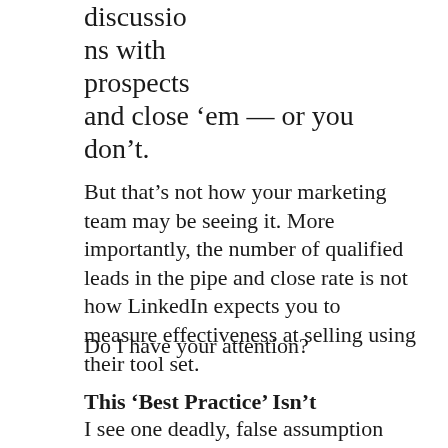discussions with prospects and close ‘em — or you don’t.
But that’s not how your marketing team may be seeing it. More importantly, the number of qualified leads in the pipe and close rate is not how LinkedIn expects you to measure effectiveness at selling using their tool set.
Do I have your attention?
This ‘Best Practice’ Isn’t
I see one deadly, false assumption being made by sellers when “social selling” on LinkedIn.